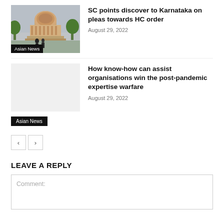[Figure (photo): Photo of Supreme Court of India building with dome and trees, people walking in front]
SC points discover to Karnataka on pleas towards HC order
August 29, 2022
Asian News
How know-how can assist organisations win the post-pandemic expertise warfare
August 29, 2022
Asian News
LEAVE A REPLY
Comment: